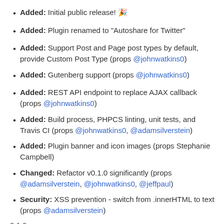Added: Initial public release! 🎉
Added: Plugin renamed to "Autoshare for Twitter"
Added: Support Post and Page post types by default, provide Custom Post Type (props @johnwatkins0)
Added: Gutenberg support (props @johnwatkins0)
Added: REST API endpoint to replace AJAX callback (props @johnwatkins0)
Added: Build process, PHPCS linting, unit tests, and Travis CI (props @johnwatkins0, @adamsilverstein)
Added: Plugin banner and icon images (props Stephanie Campbell)
Changed: Refactor v0.1.0 significantly (props @adamsilverstein, @johnwatkins0, @jeffpaul)
Security: XSS prevention - switch from .innerHTML to text (props @adamsilverstein)
0.1.0